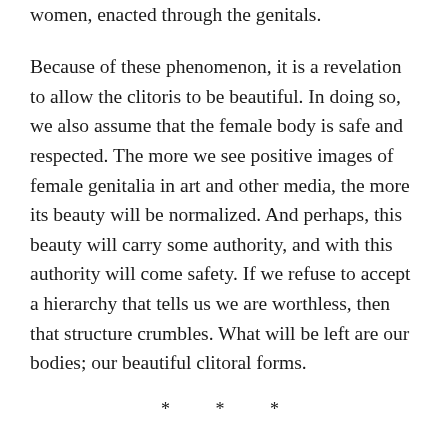women, enacted through the genitals.
Because of these phenomenon, it is a revelation to allow the clitoris to be beautiful. In doing so, we also assume that the female body is safe and respected. The more we see positive images of female genitalia in art and other media, the more its beauty will be normalized. And perhaps, this beauty will carry some authority, and with this authority will come safety. If we refuse to accept a hierarchy that tells us we are worthless, then that structure crumbles. What will be left are our bodies; our beautiful clitoral forms.
* * *